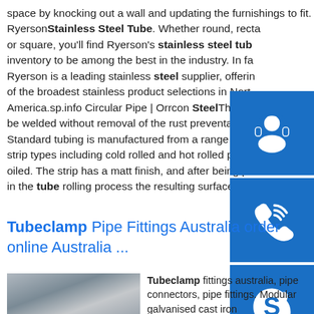space by knocking out a wall and updating the furnishings to fit. By …sp.info Stainless Steel Tube Supplier - RyersonStainless Steel Tube. Whether round, rectangle or square, you'll find Ryerson's stainless steel tube inventory to be among the best in the industry. In fact, Ryerson is a leading stainless steel supplier, offering one of the broadest stainless product selections in North America.sp.info Circular Pipe | Orrcon SteelThe tube be welded without removal of the rust preventative. Standard tubing is manufactured from a range of steel strip types including cold rolled and hot rolled pickled oiled. The strip has a matt finish, and after being polished in the tube rolling process the resulting surface finish is …
[Figure (illustration): Three blue square buttons: headset/support icon, phone/call icon, Skype icon]
Tubeclamp Pipe Fittings Australia order online Australia ...
[Figure (photo): Photo of a building/industrial scene]
Tubeclamp fittings australia, pipe connectors, pipe fittings. Modular galvanised cast iron